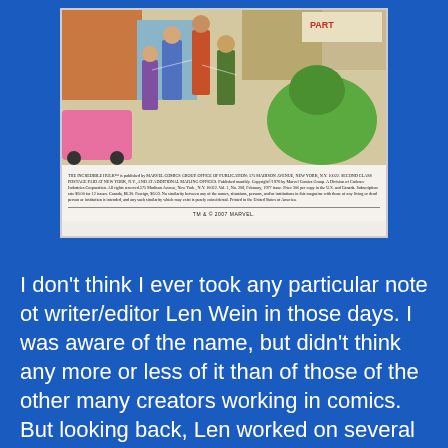[Figure (illustration): Scanned interior page from The Incredible Hulk comic book (Marvel Comics Group), showing comic book art of action scene with the Hulk and other characters, above a masthead/publication information block. The masthead reads: 'THE INCREDIBLE HULK is published by MARVEL COMICS GROUP. OFFICE OF PUBLICATION: 575 MADISON AVENUE, NEW YORK, N.Y. 10022. SECOND CLASS POSTAGE PAID AT NEW YORK, N.Y., AND AT ADDITIONAL MAILING OFFICES. Published monthly. Copyright©1976 by Marvel Comics Group. A Division of Cadence Industries Corporation. All rights reserved.575 Madison Avenue, New York, N.Y. 10022. Vol. 1, No. 208, February, 1977 issue. Price 30¢ per copy in the U.S. and Canada. Subscription rate $6.00 for 12 issues. Canada, $6.30. Foreign, $6.03. No similarity between any of the names, situations, persons, and/or institutions in this magazine with those of any living or dead person or institution is intended, and any such similarity which may exist is purely coincidental. Printed in the United States of America.' Below a divider line: 'TM & © 2007 MARVEL.']
I don't think I ever took any particular note ot writer/editor Len Wein in those days. I was aware of the name, but didn't think any more or less of it than of those of the other many creators working in comics. But looking back, Len worked on several of my favorite runs, and even when he wasn't producing trend-setting material, he always delivered the goods in a solid, dependable manner. His era of HULK is particularly nice in this regard. The HULK